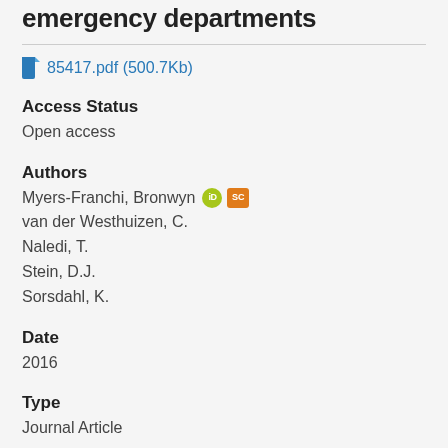emergency departments
85417.pdf (500.7Kb)
Access Status
Open access
Authors
Myers-Franchi, Bronwyn
van der Westhuizen, C.
Naledi, T.
Stein, D.J.
Sorsdahl, K.
Date
2016
Type
Journal Article